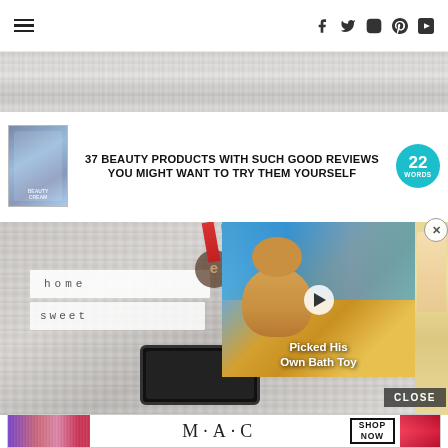Navigation header with hamburger menu and social icons: Facebook, Twitter, Instagram, Pinterest, YouTube
[Figure (photo): Top banner with wood plank texture background in grayscale]
37 BEAUTY PRODUCTS WITH SUCH GOOD REVIEWS YOU MIGHT WANT TO TRY THEM YOURSELF
[Figure (photo): Main content photo showing stacked white books/blocks with 'home sweet' stamped text on wood background, with overlaid video thumbnail of golden retriever puppy captioned 'Picked His Own Bath Toy']
CLOSE
[Figure (photo): MAC Cosmetics advertisement banner showing colorful lipsticks with MAC logo and SHOP NOW button]